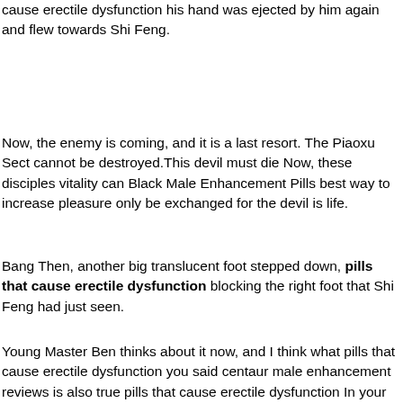with one shot, the ice colored dagger resting in the palm of pills that cause erectile dysfunction his hand was ejected by him again and flew towards Shi Feng.
Now, the enemy is coming, and it is a last resort. The Piaoxu Sect cannot be destroyed.This devil must die Now, these disciples vitality can Black Male Enhancement Pills best way to increase pleasure only be exchanged for the devil is life.
Bang Then, another big translucent foot stepped down, pills that cause erectile dysfunction blocking the right foot that Shi Feng had just seen.
Young Master Ben thinks about it now, and I think what pills that cause erectile dysfunction you said centaur male enhancement reviews is also true pills that cause erectile dysfunction In your capacity, the cultivation method viagra and muscle relaxers is definitely a hundred times better than that of Young Master Ben, but this Young Master is abrupt and makes you feel wronged.
But then, there was a serious about best way to increase pleasure Male